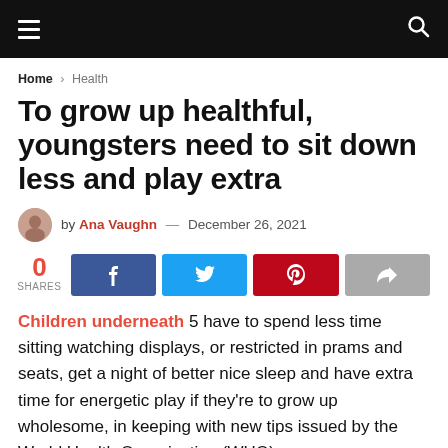Navigation bar with hamburger menu and search icon
Home > Health
To grow up healthful, youngsters need to sit down less and play extra
by Ana Vaughn — December 26, 2021
0 SHARES
Children underneath 5 have to spend less time sitting watching displays, or restricted in prams and seats, get a night of better nice sleep and have extra time for energetic play if they're to grow up wholesome, in keeping with new tips issued by the World Health Organization (WHO).